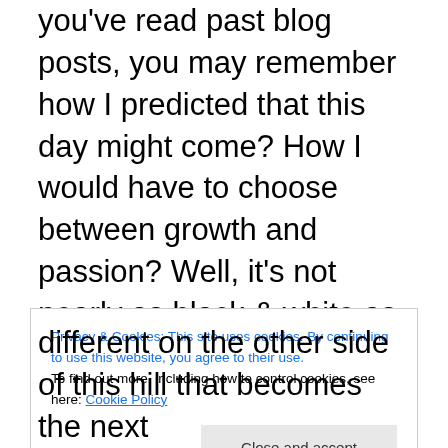you've read past blog posts, you may remember how I predicted that this day might come?  How I would have to choose between growth and passion?  Well, it's not nearly as black & white as I previously imagined (duh).  I have capped our Ale Club at 100 members for the time being to address this next phase…planning for the unknown future while trying to allow the brewery to be what it needs to be right now.  What it needs to be right now is the epic, mysterious brewery in the woods that supplies world-class beer experiences to some very special people (and to some very special retail outlets).  This is paramount.
Privacy & Cookies: This site uses cookies. By continuing to use this website, you agree to their use. To find out more, including how to control cookies, see here: Cookie Policy
Close and accept
different on the other side of this hill that becomes the next